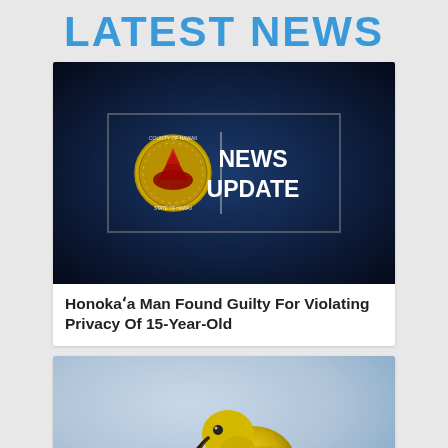LATEST NEWS
[Figure (photo): County of Hawaii News Update graphic: dark blue background with County of Hawaii seal (gold circle with red volcano) and text NEWS UPDATE in white bold font inside a grey rectangle border]
Honokaʻa Man Found Guilty For Violating Privacy Of 15-Year-Old
[Figure (photo): Close-up photograph of a yellow-green Hawaiian bird (likely a palila or similar honeycreeper) perched on a branch, with a blurred blue and grey background]